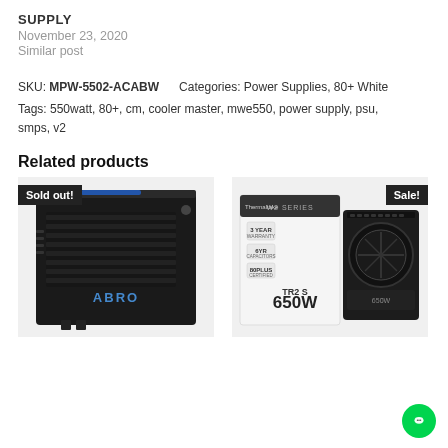SUPPLY
November 23, 2020
Similar post
SKU: MPW-5502-ACABW    Categories: Power Supplies, 80+ White
Tags: 550watt, 80+, cm, cooler master, mwe550, power supply, psu, smps, v2
Related products
[Figure (photo): Black power supply unit with grille and ABRO branding, marked Sold out!]
[Figure (photo): Thermaltake TR2 S 650W power supply with box, marked Sale!]